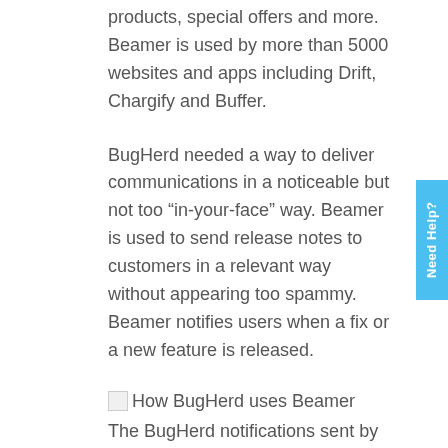products, special offers and more. Beamer is used by more than 5000 websites and apps including Drift, Chargify and Buffer.
BugHerd needed a way to deliver communications in a noticeable but not too “in-your-face” way. Beamer is used to send release notes to customers in a relevant way without appearing too spammy. Beamer notifies users when a fix or a new feature is released.
[Figure (illustration): Broken image placeholder with alt text: How BugHerd uses Beamer]
The BugHerd notifications sent by Beamer